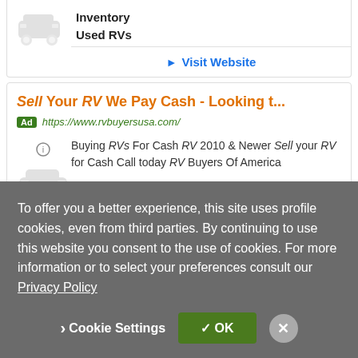[Figure (illustration): Gray car icon (partially visible at top)]
Inventory
Used RVs
► Visit Website
Sell Your RV We Pay Cash - Looking t...
Ad https://www.rvbuyersusa.com/
[Figure (illustration): Gray car icon with info circle above it]
Buying RVs For Cash RV 2010 & Newer Sell your RV for Cash Call today RV Buyers Of America
► Visit Website
To offer you a better experience, this site uses profile cookies, even from third parties. By continuing to use this website you consent to the use of cookies. For more information or to select your preferences consult our Privacy Policy
› Cookie Settings   ✓ OK   ✕